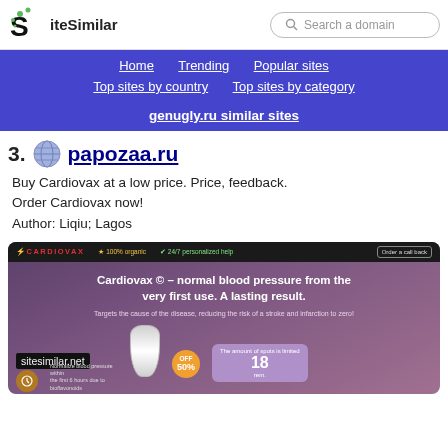SiteSimilar — Search a domain
Home   Trending   Popular sites   Top sites by country   Top sites by category
genugly.ru similar sites
23. papozaa.ru
Buy Cardiovax at a low price. Price, feedback. Order Cardiovax now!
Author: Liqiu; Lagos
[Figure (screenshot): Screenshot of papozaa.ru website showing Cardiovax product page with headline 'Cardiovax © – normal blood pressure from the very first use. A lasting result.' and sitesimilar.net watermark]